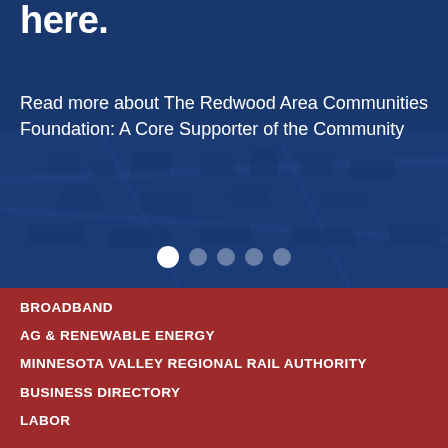here.
Read more about The Redwood Area Communities Foundation: A Core Supporter of the Community
[Figure (photo): Aerial view of a town/community with blue overlay and carousel navigation dots]
BROADBAND
AG & RENEWABLE ENERGY
MINNESOTA VALLEY REGIONAL RAIL AUTHORITY
BUSINESS DIRECTORY
LABOR